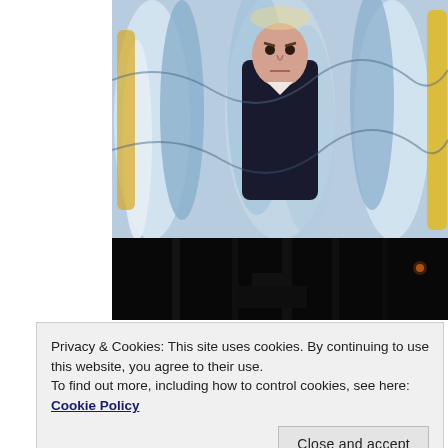[Figure (illustration): A painting-style image of a man in a dark suit with an intense expression, surrounded by swirling blue, white, and yellow abstract shapes resembling curtains or waves.]
[Figure (photo): A dark, nearly black image showing a dimly lit industrial or theatrical scene with faint outlines and a small orange light in the distance.]
Privacy & Cookies: This site uses cookies. By continuing to use this website, you agree to their use.
To find out more, including how to control cookies, see here: Cookie Policy
Close and accept